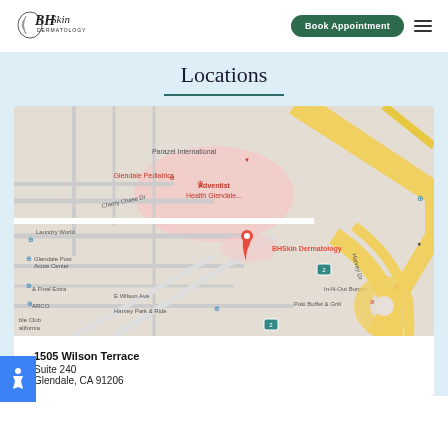BH Skin Dermatology — Book Appointment
Locations
[Figure (map): Google Maps screenshot showing BHSkin Dermatology location in Glendale, CA near major highway interchange. Red pin marker labeled 'BHSkin Dermatology' is visible in the center. Nearby landmarks include Adventist Health Glendale, Glendale Pediatrics, Parazel International, Glendale Post Acute Center, In-N-Out Burger, and Harvey Park & Ride.]
1505 Wilson Terrace
Suite 240
Glendale, CA 91206